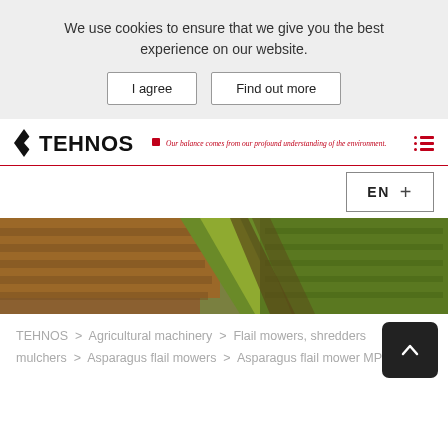We use cookies to ensure that we give you the best experience on our website.
I agree
Find out more
[Figure (logo): TEHNOS company logo with red diamond-K icon and italic red tagline: Our balance comes from our profound understanding of the environment. Red hamburger menu icon on the right.]
EN +
[Figure (photo): Aerial photo of a farm field with rows of brown dried vegetation on the left and green tractor tracks through the center, with plowed earth.]
TEHNOS > Agricultural machinery > Flail mowers, shredders mulchers > Asparagus flail mowers > Asparagus flail mower MPS